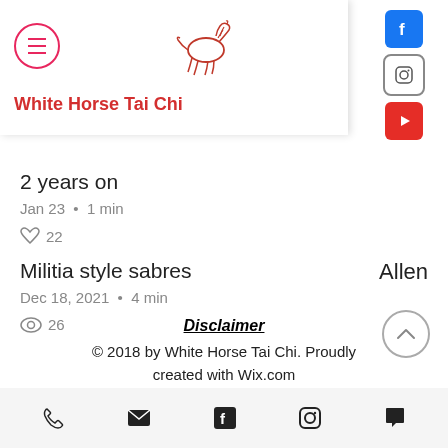White Horse Tai Chi
2 years on
Jan 23 • 1 min
22
Militia style sabres
Dec 18, 2021 • 4 min
26
Allen
Disclaimer
© 2018 by White Horse Tai Chi. Proudly created with Wix.com